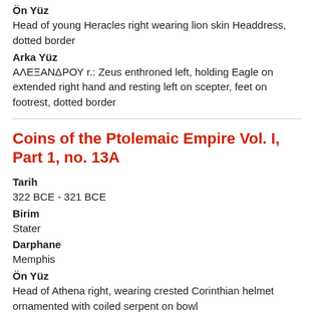Ön Yüz
Head of young Heracles right wearing lion skin Headdress, dotted border
Arka Yüz
ΑΛΕΞΑΝΔΡΟΥ r.: Zeus enthroned left, holding Eagle on extended right hand and resting left on scepter, feet on footrest, dotted border
Coins of the Ptolemaic Empire Vol. I, Part 1, no. 13A
Tarih
322 BCE - 321 BCE
Birim
Stater
Darphane
Memphis
Ön Yüz
Head of Athena right, wearing crested Corinthian helmet ornamented with coiled serpent on bowl
Arka Yüz
ΑΛΕΞΑΝΔΡΟΥ r.: Nike standing left, holding wreath in extended right hand, stylis over left shoulder